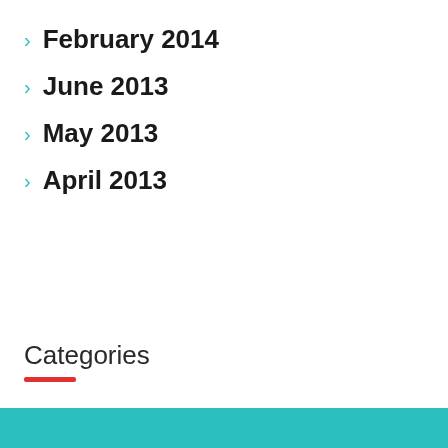February 2014
June 2013
May 2013
April 2013
Categories
[Figure (infographic): Teal promotional banner with downward arrow, text 'You can't miss our FREE MBA Profile Evaluation' and a red 'CLICK HERE!' button]